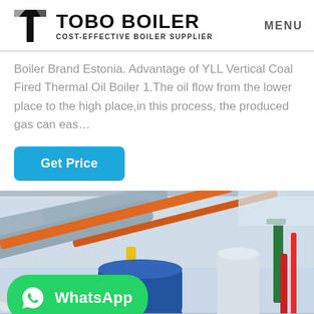TOBO BOILER — COST-EFFECTIVE BOILER SUPPLIER — MENU
Boiler Brand Estonia. Advantage of YLL Vertical Coal Fired Thermal Oil Boiler 1.The oil flow from the lower place to the high place,in this process, the produced gas can eas…
Get Price
[Figure (photo): Industrial boiler room with large insulated pipes in blue/grey, orange and red pipes running along the ceiling, and a large blue boiler unit in the foreground. WhatsApp contact badge overlaid in green at the bottom left.]